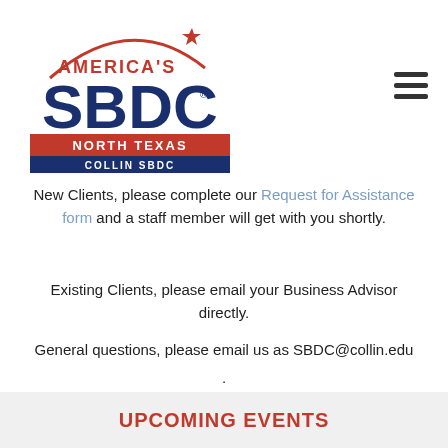[Figure (logo): America's SBDC North Texas Collin SBDC logo with star, red and blue text]
New Clients, please complete our Request for Assistance form and a staff member will get with you shortly.
Existing Clients, please email your Business Advisor directly.
General questions, please email us as SBDC@collin.edu
.
UPCOMING EVENTS